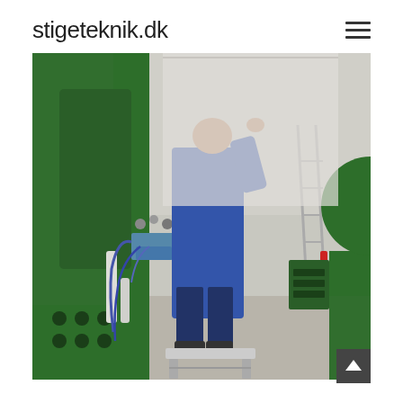stigeteknik.dk
[Figure (photo): A worker in a blue coat standing on a small step stool or platform, working on large green industrial machinery in a factory/workshop setting. In the background there are more green machines, a metal ladder, and workshop equipment on a light-colored concrete floor.]